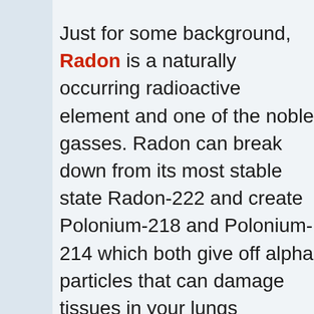Just for some background, Radon is a naturally occurring radioactive element and one of the noble gasses. Radon can break down from its most stable state Radon-222 and create Polonium-218 and Polonium-214 which both give off alpha particles that can damage tissues in your lungs potentially leading to cancer.
I am not sure what test you used and the numbers are going by, but the US Government guidelines suggest taking action when Radon levels are higher than 148 Bq/m3. The Bq in that number stands for becquerels which is a special unit for radioactive materials that describes how much a given material decays over time. 1 in 15 houses in the United States are estimated to have this elevated level of Radon.
So what should you do? We aren't in a position qualified to answer that question...